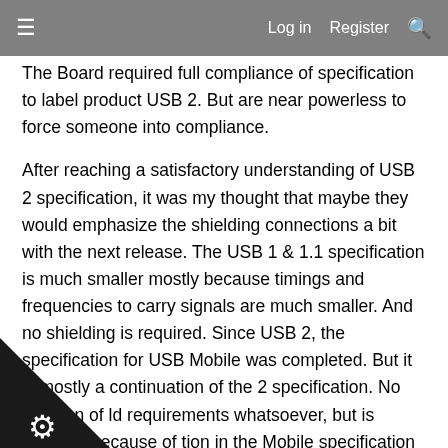≡   Log in   Register   🔍
The Board required full compliance of specification to label product USB 2. But are near powerless to force someone into compliance.
After reaching a satisfactory understanding of USB 2 specification, it was my thought that maybe they would emphasize the shielding connections a bit with the next release. The USB 1 & 1.1 specification is much smaller mostly because timings and frequencies to carry signals are much smaller. And no shielding is required. Since USB 2, the specification for USB Mobile was completed. But it is mostly a continuation of the 2 specification. No mention of ld requirements whatsoever, but is required because of tion in the Mobile specification that it needs to